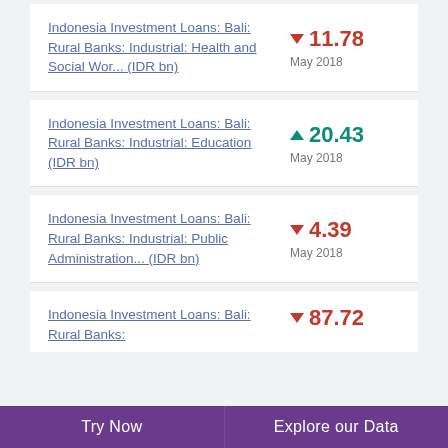Indonesia Investment Loans: Bali: Rural Banks: Industrial: Health and Social Wor... (IDR bn)
▼ 11.78 May 2018
Indonesia Investment Loans: Bali: Rural Banks: Industrial: Education (IDR bn)
▲ 20.43 May 2018
Indonesia Investment Loans: Bali: Rural Banks: Industrial: Public Administration... (IDR bn)
▼ 4.39 May 2018
Indonesia Investment Loans: Bali: Rural Banks:
▼ 87.72
Try Now    Explore our Data